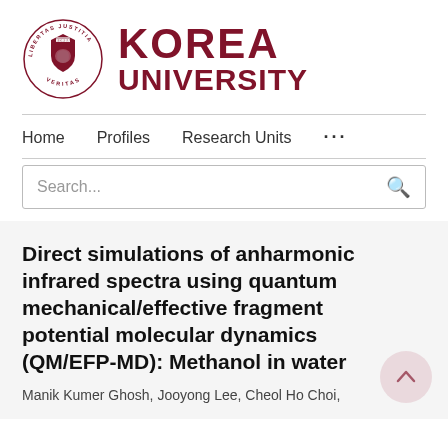[Figure (logo): Korea University logo: circular seal with 'LIBERTAS JUSTITIA VERITAS' text and shield emblem, next to bold dark red 'KOREA UNIVERSITY' text]
Home   Profiles   Research Units   ...
Search...
Direct simulations of anharmonic infrared spectra using quantum mechanical/effective fragment potential molecular dynamics (QM/EFP-MD): Methanol in water
Manik Kumer Ghosh, Jooyong Lee, Cheol Ho Choi,